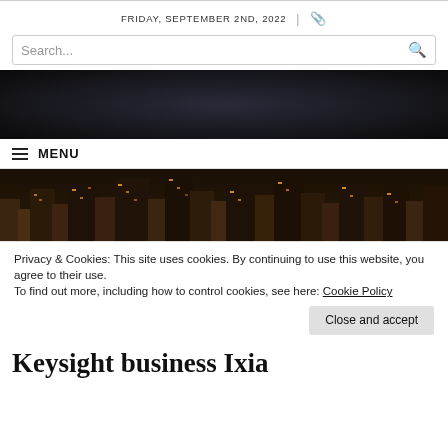FRIDAY, SEPTEMBER 2ND, 2022
Search...
[Figure (logo): Back End News site banner with dark starry background, title BACK END NEWS and subtitle ENTERPRISE TECHNOLOGY]
MENU
[Figure (photo): Aerial night photo of city skyscrapers with golden/orange lighting]
Privacy & Cookies: This site uses cookies. By continuing to use this website, you agree to their use.
To find out more, including how to control cookies, see here: Cookie Policy
Close and accept
Keysight business Ixia